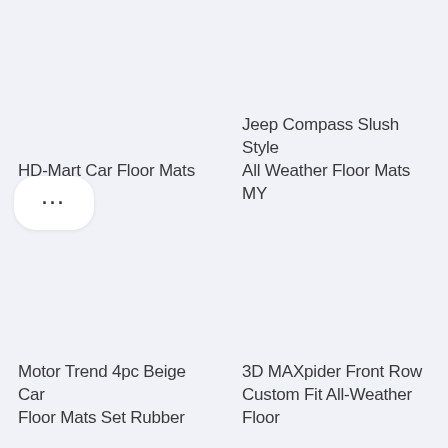HD-Mart Car Floor Mats Rubber
Jeep Compass Slush Style All Weather Floor Mats MY
...
Motor Trend 4pc Beige Car Floor Mats Set Rubber
3D MAXpider Front Row Custom Fit All-Weather Floor